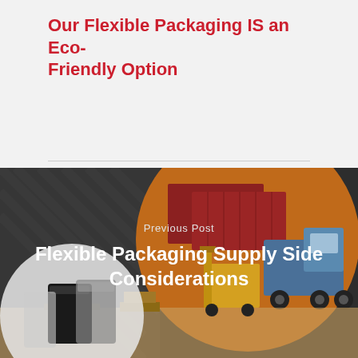Our Flexible Packaging IS an Eco-Friendly Option
[Figure (illustration): Logistics and supply chain illustration showing shipping containers, forklift, truck, and pallets with packages. A circular inset shows flexible packaging pouches/bags. Dark background with orange circular accent.]
Previous Post
Flexible Packaging Supply Side Considerations